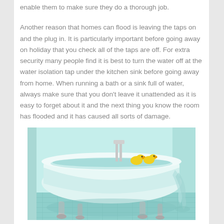enable them to make sure they do a thorough job.
Another reason that homes can flood is leaving the taps on and the plug in. It is particularly important before going away on holiday that you check all of the taps are off. For extra security many people find it is best to turn the water off at the water isolation tap under the kitchen sink before going away from home. When running a bath or a sink full of water, always make sure that you don't leave it unattended as it is easy to forget about it and the next thing you know the room has flooded and it has caused all sorts of damage.
[Figure (photo): A white freestanding clawfoot bathtub overflowing with water, with two yellow rubber ducks on the rim. The bathroom floor is flooded with water visible pooling. The background has a light teal/blue tone.]